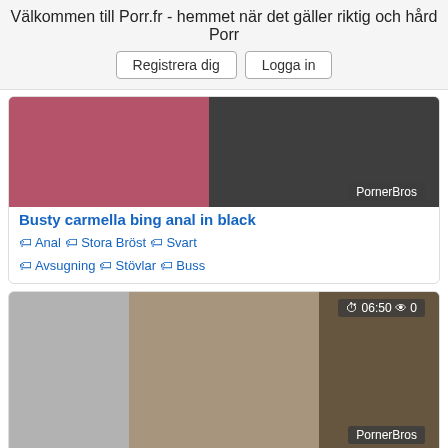Välkommen till Porr.fr - hemmet när det gäller riktig och hård Porr
Registrera dig | Logga in
[Figure (photo): Video thumbnail - Busty carmella bing anal in black, with PornerBros overlay badge]
Busty carmella bing anal in black
Anal  Stora Bröst  Svart  Avsugning  Stövlar  Buss
[Figure (photo): Video thumbnail - Missionary fuck for sexy girl in, with 06:50, 0 views, and PornerBros overlay]
Missionary fuck for sexy girl in
Amatör  Stövlar  Flickvän  Tonåring (18-19)
[Figure (photo): Video thumbnail - third card with 06:48 timer and 0 views, partially visible]